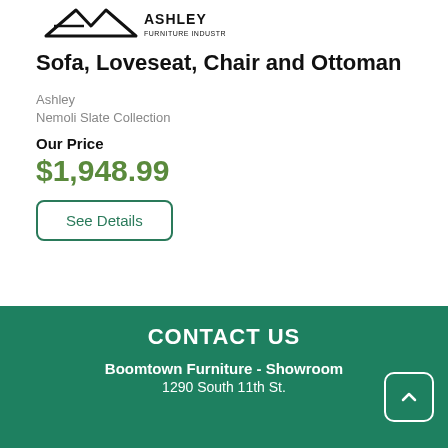[Figure (logo): Ashley Furniture Industries, LLC logo — black stylized mountain/A shape with company name text]
Sofa, Loveseat, Chair and Ottoman
Ashley
Nemoli Slate Collection
Our Price
$1,948.99
See Details
CONTACT US
Boomtown Furniture - Showroom
1290 South 11th St.